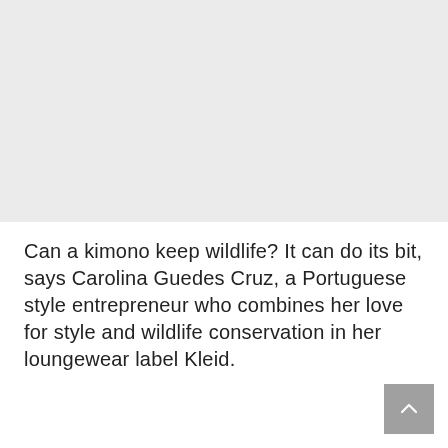[Figure (photo): Large image placeholder area with light grey background, representing a photo (likely of kimono/loungewear fashion)]
Can a kimono keep wildlife? It can do its bit, says Carolina Guedes Cruz, a Portuguese style entrepreneur who combines her love for style and wildlife conservation in her loungewear label Kleid.